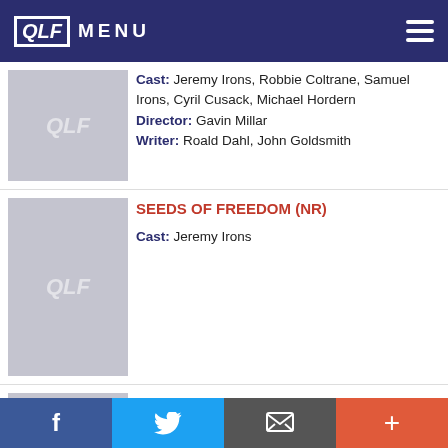QLF MENU
Cast: Jeremy Irons, Robbie Coltrane, Samuel Irons, Cyril Cusack, Michael Hordern
Director: Gavin Millar
Writer: Roald Dahl, John Goldsmith
SEEDS OF FREEDOM (NR)
Cast: Jeremy Irons
THE SULTAN AND THE SAINT (NR)
Cast: Jeremy Irons, Alexander McPherson, Patrick Boyer, Eric Kramer, Samuel Muriithi
Director: Alexander Kronemer
Writer: Alexander Kronemer
SWANN IN LOVE (UN AMOUR DE SWANN) (R)
Cast: Jeremy Irons, Ornella Muti, Alain Delon, Fanny...
f  Twitter  Email  +